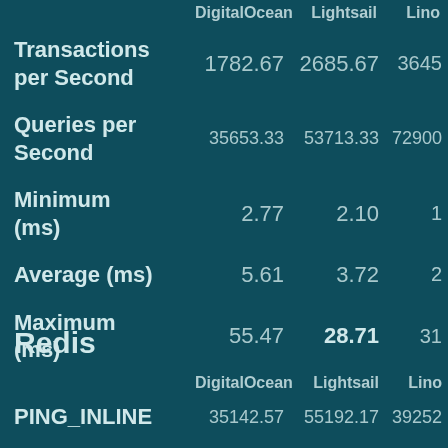|  | DigitalOcean | Lightsail | Lino |
| --- | --- | --- | --- |
| Transactions per Second | 1782.67 | 2685.67 | 3645 |
| Queries per Second | 35653.33 | 53713.33 | 72900 |
| Minimum (ms) | 2.77 | 2.10 | 1 |
| Average (ms) | 5.61 | 3.72 | 2 |
| Maximum (ms) | 55.47 | 28.71 | 31 |
Redis
|  | DigitalOcean | Lightsail | Lino |
| --- | --- | --- | --- |
| PING_INLINE | 35142.57 | 55192.17 | 39252 |